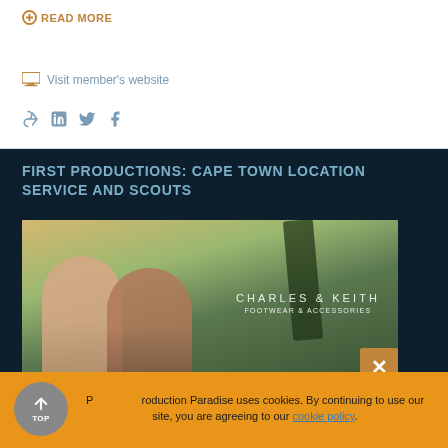READ MORE
Visit member's website
[Figure (other): Social share icons: share arrow, LinkedIn, Twitter, Facebook]
FIRST PRODUCTIONS: CAPE TOWN LOCATION SERVICE AND SCOUTS
[Figure (photo): Photo of two women outdoors with Charles & Keith Footwear & Accessories branding overlay]
Production Paradise uses cookies. By continuing to use our site, you are agreeing to our cookie policy.